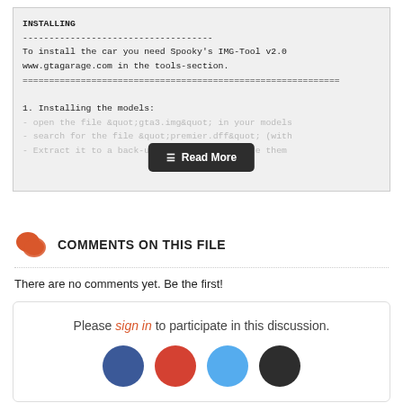INSTALLING
------------------------------------
To install the car you need Spooky's IMG-Tool v2.0
www.gtagarage.com in the tools-section.
============================================================

1. Installing the models:
- open the file &quot;gta3.img&quot; in your models
- search for the file &quot;premier.dff&quot; (with
- Extract it to a back-up folder, then delete them
[Figure (screenshot): Read More button overlay on code block]
COMMENTS ON THIS FILE
There are no comments yet. Be the first!
Please sign in to participate in this discussion.